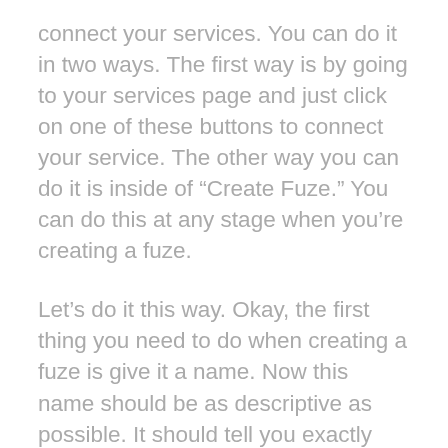connect your services. You can do it in two ways. The first way is by going to your services page and just click on one of these buttons to connect your service. The other way you can do it is inside of “Create Fuze.” You can do this at any stage when you’re creating a fuze.
Let’s do it this way. Okay, the first thing you need to do when creating a fuze is give it a name. Now this name should be as descriptive as possible. It should tell you exactly what you’re doing with this particular fuze connection. Okay. In this example, I’m going to show you one where I want to send a follow-up email to people who are already subscribers to the multimedia marketing show but watch the video that’s on the Pan Australian Travel